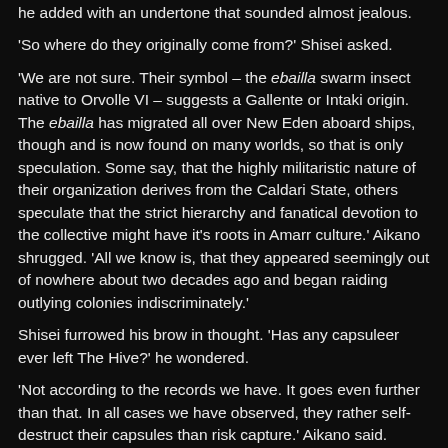he added with an undertone that sounded almost jealous.
'So where do they originally come from?' Shisei asked.
'We are not sure. Their symbol – the ebailla swarm insect native to Orvolle VI – suggests a Gallente or Intaki origin. The ebailla has migrated all over New Eden aboard ships, though and is now found on many worlds, so that is only speculation. Some say, that the highly militaristic nature of their organization derives from the Caldari State, others speculate that the strict hierarchy and fanatical devotion to the collective might have it's roots in Amarr culture.' Aikano shrugged. 'All we know is, that they appeared seemingly out of nowhere about two decades ago and began raiding outlying colonies indiscriminately.'
Shisei furrowed his brow in thought. 'Has any capsuleer ever left The Hive?' he wondered.
'Not according to the records we have. It goes even further than that. In all cases we have observed, they rather self-destruct their capsules than risk capture.' Aikano said.